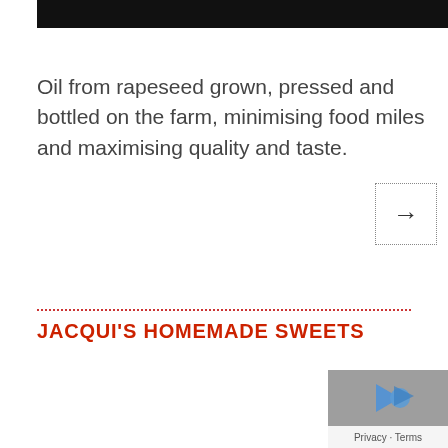[Figure (other): Black header bar at the top of the page]
Oil from rapeseed grown, pressed and bottled on the farm, minimising food miles and maximising quality and taste.
[Figure (other): Dotted border box with right arrow symbol]
JACQUI'S HOMEMADE SWEETS
[Figure (other): Google maps/privacy widget in bottom right corner showing Privacy - Terms]